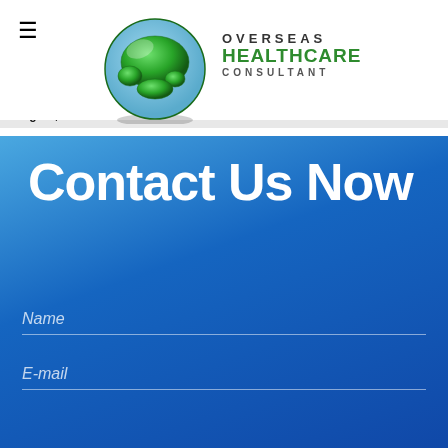≡
[Figure (logo): Green globe illustration representing Overseas Healthcare Consultant logo]
OVERSEAS HEALTHCARE CONSULTANT
the following: Diploma, Bachelor's, Post Graduates Degree, e
Contact Us Now
Name
E-mail